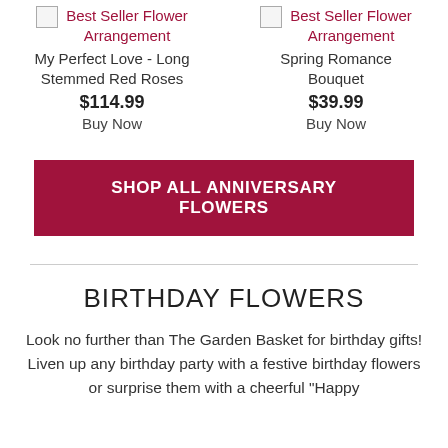[Figure (other): Product image placeholder for Best Seller Flower Arrangement - My Perfect Love Long Stemmed Red Roses, priced at $114.99 with Buy Now link]
[Figure (other): Product image placeholder for Best Seller Flower Arrangement - Spring Romance Bouquet, priced at $39.99 with Buy Now link]
SHOP ALL ANNIVERSARY FLOWERS
BIRTHDAY FLOWERS
Look no further than The Garden Basket for birthday gifts! Liven up any birthday party with a festive birthday flowers or surprise them with a cheerful "Happy